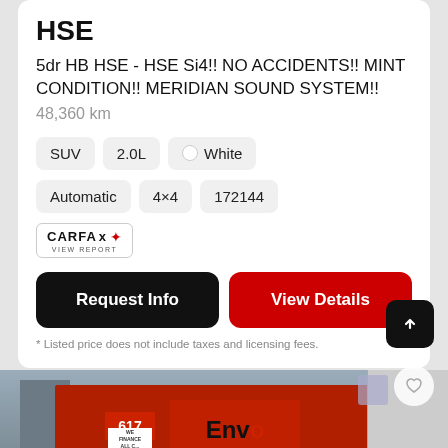HSE
5dr HB HSE - HSE Si4!! NO ACCIDENTS!! MINT CONDITION!! MERIDIAN SOUND SYSTEM!!
48,360 km
SUV
2.0L
White
Automatic
4×4
172144
[Figure (logo): CARFAX Canada logo with VIEW REPORT text]
Request Info
View Details
* Listed price does not include taxes and licensing fees.
[Figure (photo): Street view of a car dealership with a red Envoy sign and 617 address number]